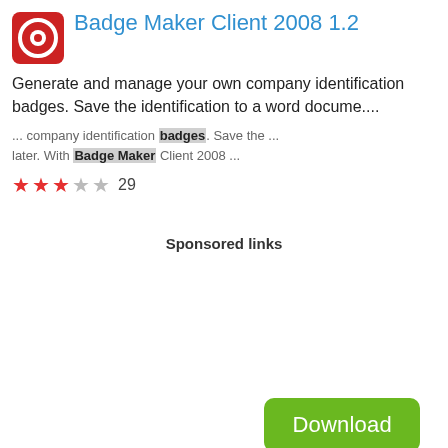Badge Maker Client 2008 1.2
Generate and manage your own company identification badges. Save the identification to a word docume....
... company identification badges. Save the ... later. With Badge Maker Client 2008 ...
★★★☆☆ 29
[Figure (other): Green Download button]
Sponsored links